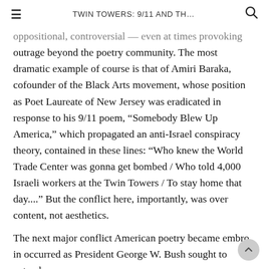TWIN TOWERS: 9/11 AND TH...
oppositional, controversial — even at times provoking outrage beyond the poetry community. The most dramatic example of course is that of Amiri Baraka, cofounder of the Black Arts movement, whose position as Poet Laureate of New Jersey was eradicated in response to his 9/11 poem, “Somebody Blew Up America,” which propagated an anti-Israel conspiracy theory, contained in these lines: “Who knew the World Trade Center was gonna get bombed / Who told 4,000 Israeli workers at the Twin Towers / To stay home that day....” But the conflict here, importantly, was over content, not aesthetics.
The next major conflict American poetry became embroiled in occurred as President George W. Bush sought to extend